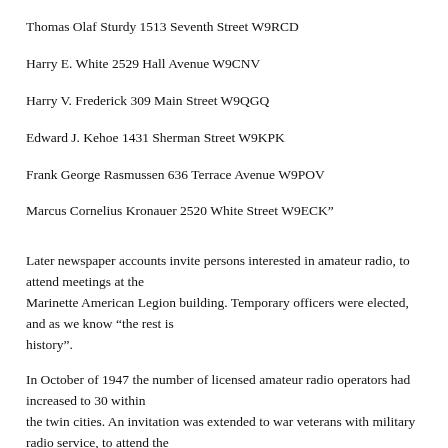Thomas Olaf Sturdy 1513 Seventh Street W9RCD
Harry E. White 2529 Hall Avenue W9CNV
Harry V. Frederick 309 Main Street W9QGQ
Edward J. Kehoe 1431 Sherman Street W9KPK
Frank George Rasmussen 636 Terrace Avenue W9POV
Marcus Cornelius Kronauer 2520 White Street W9ECK”
Later newspaper accounts invite persons interested in amateur radio, to attend meetings at the Marinette American Legion building. Temporary officers were elected, and as we know “the rest is history”.
In October of 1947 the number of licensed amateur radio operators had increased to 30 within the twin cities. An invitation was extended to war veterans with military radio service, to attend the